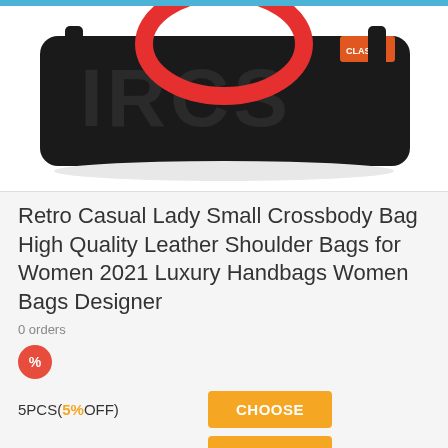[Figure (photo): Black embossed leather crossbody handbag with red circular handle and orange tag, displayed on white background]
Retro Casual Lady Small Crossbody Bag High Quality Leather Shoulder Bags for Women 2021 Luxury Handbags Women Bags Designer
0 orders
[Figure (infographic): Red flame/drop icon with % symbol representing discount offers]
5PCS(5%OFF) CHOOSE
10PCS(10%OFF) CHOOSE